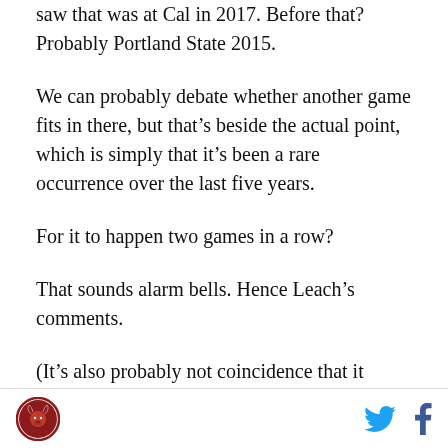saw that was at Cal in 2017. Before that? Probably Portland State 2015.
We can probably debate whether another game fits in there, but that’s beside the actual point, which is simply that it’s been a rare occurrence over the last five years.
For it to happen two games in a row?
That sounds alarm bells. Hence Leach’s comments.
(It’s also probably not coincidence that it comes in direct contrast to the team we just lost to, another program that (a) prides itself on toughness, (b) we’ve beaten regularly, and (c) is a peer in terms of resources and recruiting competition. I’m guessing that